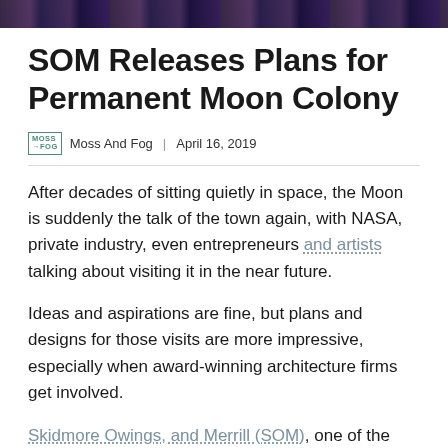[Figure (photo): Dark banner image strip at top of page, appears to show a space/night scene]
SOM Releases Plans for Permanent Moon Colony
Moss And Fog  |  April 16, 2019
After decades of sitting quietly in space, the Moon is suddenly the talk of the town again, with NASA, private industry, even entrepreneurs and artists talking about visiting it in the near future.
Ideas and aspirations are fine, but plans and designs for those visits are more impressive, especially when award-winning architecture firms get involved.
Skidmore Owings, and Merrill (SOM), one of the biggest and most influential architecture firms in the